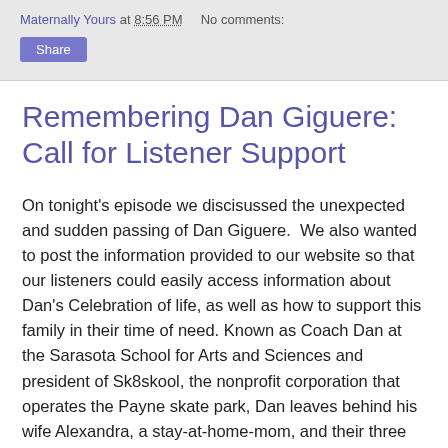Maternally Yours at 8:56 PM   No comments:
Share
Remembering Dan Giguere: Call for Listener Support
On tonight's episode we discisussed the unexpected and sudden passing of Dan Giguere.  We also wanted to post the information provided to our website so that our listeners could easily access information about Dan's Celebration of life, as well as how to support this family in their time of need. Known as Coach Dan at the Sarasota School for Arts and Sciences and president of Sk8skool, the nonprofit corporation that operates the Payne skate park, Dan leaves behind his wife Alexandra, a stay-at-home-mom, and their three young boys. The Celebration of Life is planned for this Saturday, February 16th at First Baptist Church of Sarasota - 1661 Main Street. Doors will open at 5:00 and the Celebration will begin at 5:30pm. After the Celebration of Life, Alexandra would like everyone to walk, skateboard, bike or drive to the Payne Skate Park, 2110 Adams Lane, for a candlelight vigil. We also ask that our listeners